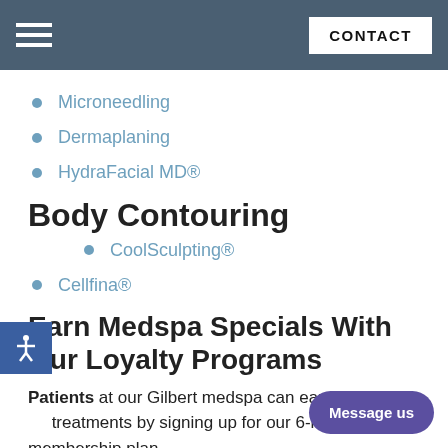CONTACT
Microneedling
Dermaplaning
HydraFacial MD®
Body Contouring
CoolSculpting®
Cellfina®
Earn Medspa Specials With Our Loyalty Programs
Patients at our Gilbert medspa can earn specials on treatments by signing up for our 6-month membership plan